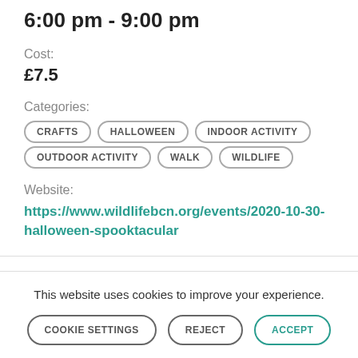6:00 pm - 9:00 pm
Cost:
£7.5
Categories:
CRAFTS
HALLOWEEN
INDOOR ACTIVITY
OUTDOOR ACTIVITY
WALK
WILDLIFE
Website:
https://www.wildlifebcn.org/events/2020-10-30-halloween-spooktacular
This website uses cookies to improve your experience.
COOKIE SETTINGS
REJECT
ACCEPT